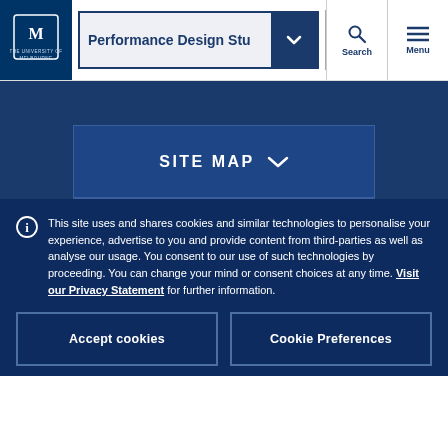Performance Design Stu | University of Melbourne navigation bar with Search and Menu
SITE MAP
This site uses and shares cookies and similar technologies to personalise your experience, advertise to you and provide content from third-parties as well as analyse our usage. You consent to our use of such technologies by proceeding. You can change your mind or consent choices at any time. Visit our Privacy Statement for further information.
Accept cookies
Cookie Preferences